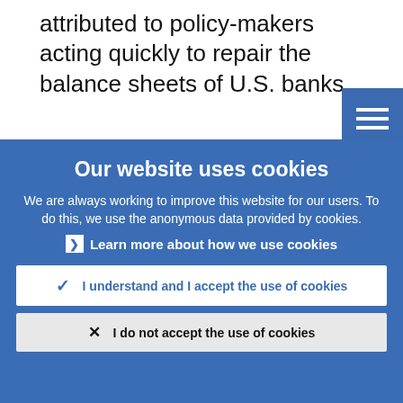attributed to policy-makers acting quickly to repair the balance sheets of U.S. banks.
This narrative, while intuitively compelling, is missing two crucial points. The first is
[Figure (screenshot): Blue menu/hamburger icon button in top right corner]
[Figure (screenshot): Blue share icon button in top right corner]
Our website uses cookies
We are always working to improve this website for our users. To do this, we use the anonymous data provided by cookies.
Learn more about how we use cookies
I understand and I accept the use of cookies
I do not accept the use of cookies